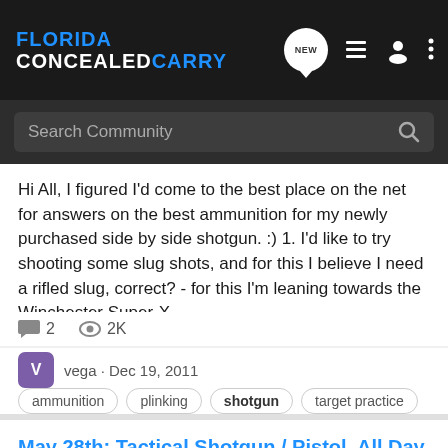[Figure (screenshot): Florida Concealed Carry forum website header with logo, navigation icons (NEW bubble, list, user, more), and search bar.]
Hi All, I figured I'd come to the best place on the net for answers on the best ammunition for my newly purchased side by side shotgun. :) 1. I'd like to try shooting some slug shots, and for this I believe I need a rifled slug, correct? - for this I'm leaning towards the Winchester Super-X...
2  2K
vega · Dec 19, 2011
ammunition
plinking
shotgun
target practice
May 28th: Tactical Shotgun / Pistol. All Day (OK)
Training and Tactics
Get those bang sticks out, dust off the pump / double or auto loader. When was the last time you trained with your shotgun